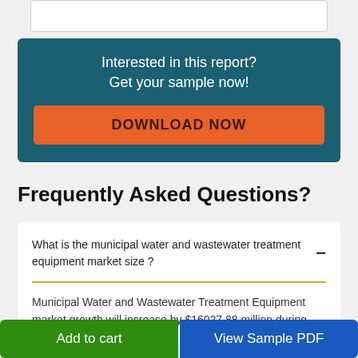[Figure (other): White input box at top of page]
Interested in this report?
Get your sample now!
DOWNLOAD NOW
Frequently Asked Questions?
What is the municipal water and wastewater treatment equipment market size ?
Municipal Water and Wastewater Treatment Equipment market growth will increase by $16027.88 million during
Add to cart
View Sample PDF